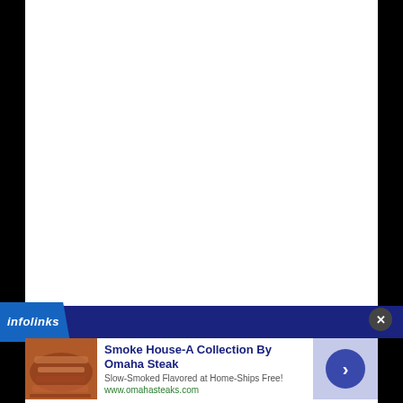[Figure (other): Large white blank area taking up most of the page, flanked by black bars on the left and right sides]
[Figure (logo): Infolinks logo bar - dark blue bar with infolinks italic bold white text on a blue angled badge]
[Figure (other): Advertisement: Smoke House - A Collection By Omaha Steak. Shows grilled/smoked meat image on left, ad text in center, arrow button on right. URL: www.omahasteaks.com]